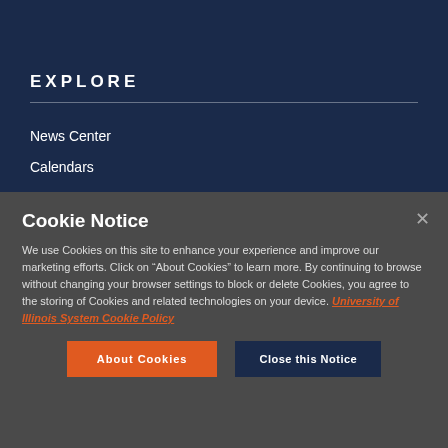EXPLORE
News Center
Calendars
Find People
Cookie Notice
We use Cookies on this site to enhance your experience and improve our marketing efforts. Click on “About Cookies” to learn more. By continuing to browse without changing your browser settings to block or delete Cookies, you agree to the storing of Cookies and related technologies on your device. University of Illinois System Cookie Policy
About Cookies
Close this Notice